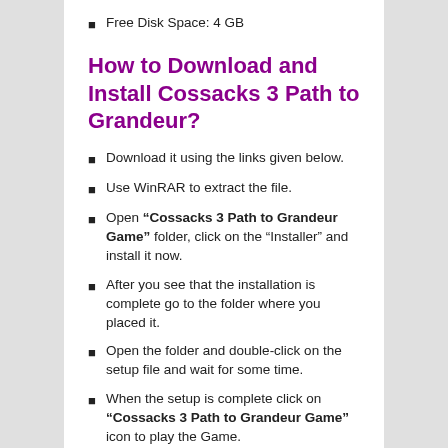Free Disk Space: 4 GB
How to Download and Install Cossacks 3 Path to Grandeur?
Download it using the links given below.
Use WinRAR to extract the file.
Open “Cossacks 3 Path to Grandeur Game” folder, click on the “Installer” and install it now.
After you see that the installation is complete go to the folder where you placed it.
Open the folder and double-click on the setup file and wait for some time.
When the setup is complete click on “Cossacks 3 Path to Grandeur Game” icon to play the Game.
Enjo the...